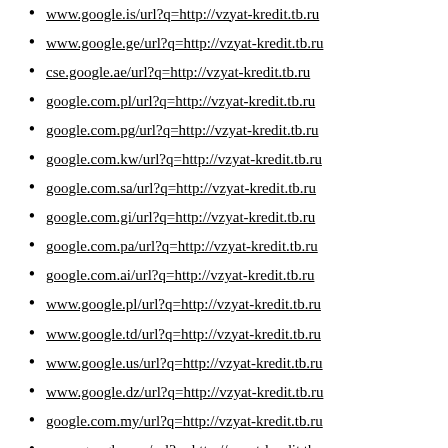www.google.is/url?q=http://vzyat-kredit.tb.ru
www.google.ge/url?q=http://vzyat-kredit.tb.ru
cse.google.ae/url?q=http://vzyat-kredit.tb.ru
google.com.pl/url?q=http://vzyat-kredit.tb.ru
google.com.pg/url?q=http://vzyat-kredit.tb.ru
google.com.kw/url?q=http://vzyat-kredit.tb.ru
google.com.sa/url?q=http://vzyat-kredit.tb.ru
google.com.gi/url?q=http://vzyat-kredit.tb.ru
google.com.pa/url?q=http://vzyat-kredit.tb.ru
google.com.ai/url?q=http://vzyat-kredit.tb.ru
www.google.pl/url?q=http://vzyat-kredit.tb.ru
www.google.td/url?q=http://vzyat-kredit.tb.ru
www.google.us/url?q=http://vzyat-kredit.tb.ru
www.google.dz/url?q=http://vzyat-kredit.tb.ru
google.com.my/url?q=http://vzyat-kredit.tb.ru
www.google.mw/url?q=http://vzyat-kredit.tb.ru
google.com.fj/url?q=http://vzyat-kredit.tb.ru
google.com.cy/url?q=http://vzyat-kredit.tb.ru
google.com.ni/url?q=http://vzyat-kredit.tb.ru